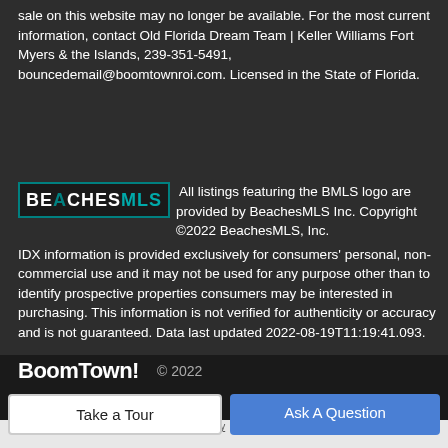sale on this website may no longer be available. For the most current information, contact Old Florida Dream Team | Keller Williams Fort Myers & the Islands, 239-351-5491, bouncedemail@boomtownroi.com. Licensed in the State of Florida.
[Figure (logo): BeachesMLS logo - teal and white text on dark background]
All listings featuring the BMLS logo are provided by BeachesMLS Inc. Copyright ©2022 BeachesMLS, Inc.
IDX information is provided exclusively for consumers' personal, non-commercial use and it may not be used for any purpose other than to identify prospective properties consumers may be interested in purchasing. This information is not verified for authenticity or accuracy and is not guaranteed. Data last updated 2022-08-19T11:19:41.093.
[Figure (logo): BoomTown! logo in white bold text]
© 2022
Terms of Use · Privacy Policy · Accessibility · DMCA
Take a Tour
Ask A Question